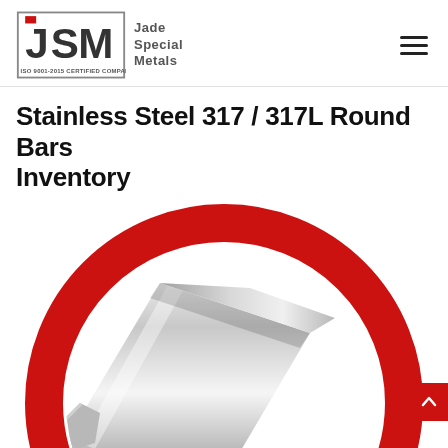JSM Jade Special Metals — ISO 9001-2015 CERTIFIED COMPANY
Stainless Steel 317 / 317L Round Bars Inventory
[Figure (photo): A stainless steel round bar shown inside a large red circular ring/frame. The bar is metallic silver with a hexagonal/round tapered end, displayed diagonally. The background is white.]